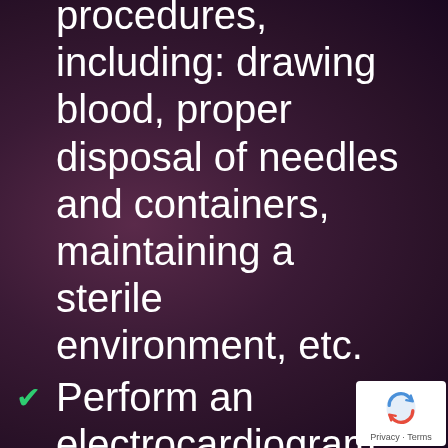procedures, including: drawing blood, proper disposal of needles and containers, maintaining a sterile environment, etc.
Perform an electrocardiogram (ECG) and interpret cardiac rhythms and dysrhythmias
Conduct patient